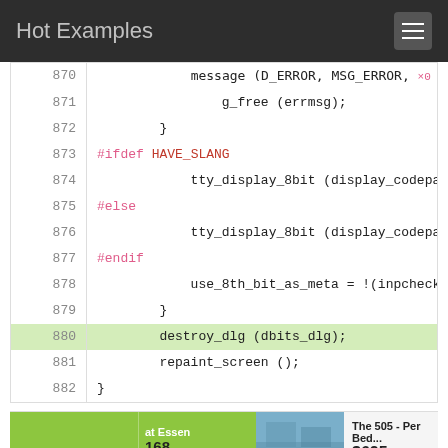Hot Examples
[Figure (screenshot): Code viewer showing C source lines 870-882 with syntax highlighting. Line 880 is highlighted in green. Code shows preprocessor directives #ifdef HAVE_SLANG, #else, #endif, function calls tty_display_8bit, use_8th_bit_as_meta, destroy_dlg, repaint_screen, and g_free with errmsg.]
[Figure (screenshot): Advertisement banner for Apartments.com showing apartment listings with prices $625 and $1,535, locations Springfield MO and Minneapolis, and apartment photos on green background.]